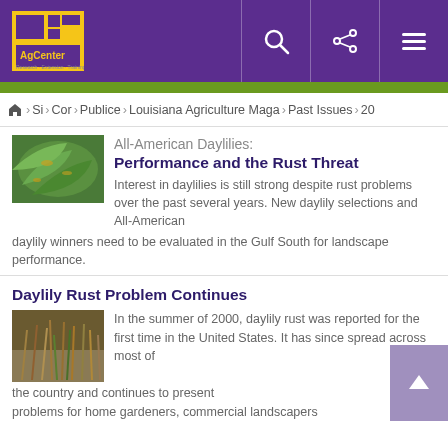LSU AgCenter
Home › Si › Cor › Publice › Louisiana Agriculture Maga › Past Issues › 20
All-American Daylilies: Performance and the Rust Threat
[Figure (photo): Close-up photo of daylily leaves showing rust disease symptoms]
Interest in daylilies is still strong despite rust problems over the past several years. New daylily selections and All-American daylily winners need to be evaluated in the Gulf South for landscape performance.
Daylily Rust Problem Continues
[Figure (photo): Photo of daylily plants affected by rust disease, showing browned and damaged foliage]
In the summer of 2000, daylily rust was reported for the first time in the United States. It has since spread across most of the country and continues to present problems for home gardeners, commercial landscapers